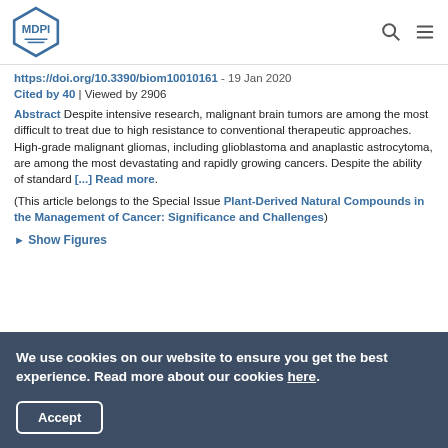MDPI [logo] [search icon] [menu icon]
https://doi.org/10.3390/biom10010161 - 19 Jan 2020
Cited by 40 | Viewed by 2906
Abstract Despite intensive research, malignant brain tumors are among the most difficult to treat due to high resistance to conventional therapeutic approaches. High-grade malignant gliomas, including glioblastoma and anaplastic astrocytoma, are among the most devastating and rapidly growing cancers. Despite the ability of standard [...] Read more.
(This article belongs to the Special Issue Plant-Derived Natural Compounds in the Management of Cancer: Significance and Challenges)
► Show Figures
We use cookies on our website to ensure you get the best experience. Read more about our cookies here.
Accept